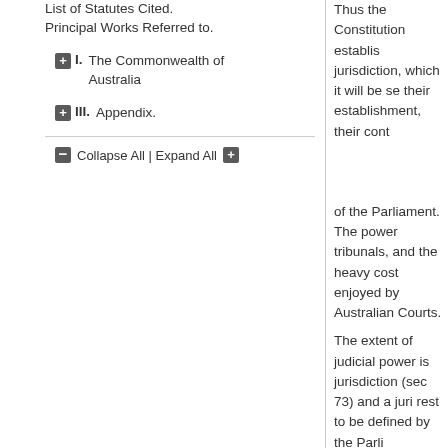List of Statutes Cited. Principal Works Referred to.
I. The Commonwealth of Australia
III. Appendix.
Collapse All | Expand All
Thus the Constitution establishes jurisdiction, which it will be seen their establishment, their cont
of the Parliament. The power tribunals, and the heavy cost enjoyed by Australian Courts.
The extent of judicial power is jurisdiction (sec 73) and a juri rest to be defined by the Parli